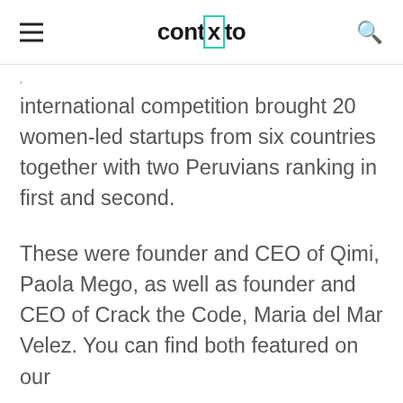contxto
international competition brought 20 women-led startups from six countries together with two Peruvians ranking in first and second.
These were founder and CEO of Qimi, Paola Mego, as well as founder and CEO of Crack the Code, Maria del Mar Velez. You can find both featured on our